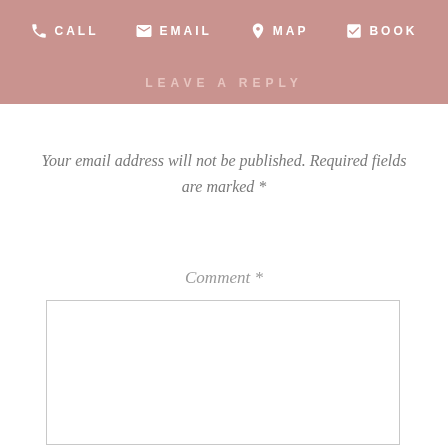CALL  EMAIL  MAP  BOOK
LEAVE A REPLY
Your email address will not be published. Required fields are marked *
Comment *